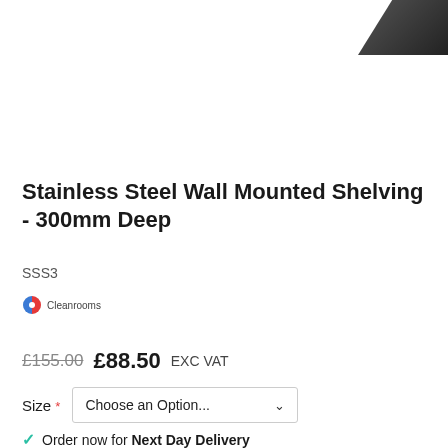[Figure (photo): Partial product photo of stainless steel shelving, visible in the top-right corner]
Stainless Steel Wall Mounted Shelving - 300mm Deep
SSS3
[Figure (logo): Cleanrooms brand logo with half-red half-green circle icon]
£155.00  £88.50 EXC VAT
Size *  Choose an Option...
Order now for Next Day Delivery